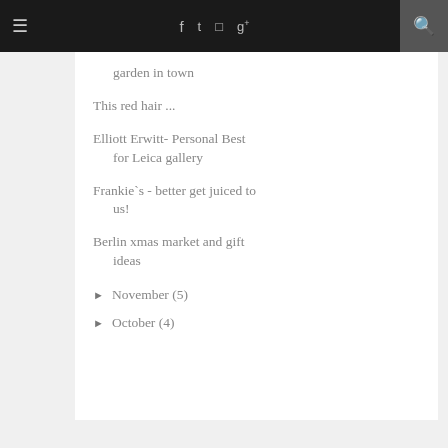≡  f  twitter  instagram  g+  🔍
garden in town
This red hair ...
Elliott Erwitt- Personal Best for Leica gallery
Frankie`s - better get juiced to us!
Berlin xmas market and gift ideas
► November (5)
► October (4)